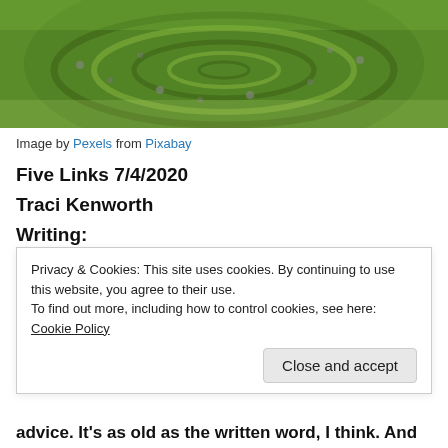[Figure (photo): Aerial or top-down photo of a circular spiral pattern made of rocks and moss on green grass/ground.]
Image by Pexels from Pixabay
Five Links 7/4/2020
Traci Kenworth
Writing:
1. https://www.livewritethrive.com/2020/06/29/10-must-read-modern-novels-to-inspire-writers/ “Throughout
Privacy & Cookies: This site uses cookies. By continuing to use this website, you agree to their use.
To find out more, including how to control cookies, see here: Cookie Policy
Close and accept
advice. It's as old as the written word, I think. And